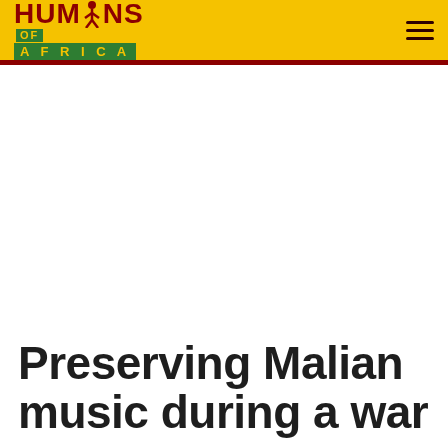HUMANS OF AFRICA
Preserving Malian music during a war